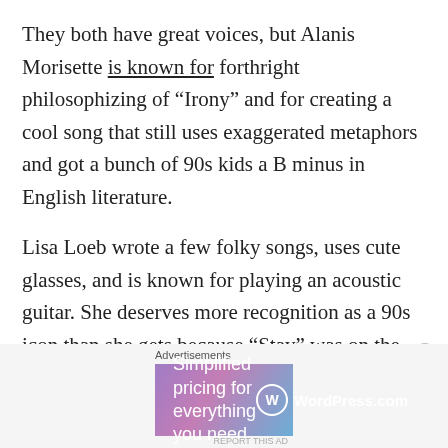They both have great voices, but Alanis Morisette is known for forthright philosophizing of “Irony” and for creating a cool song that still uses exaggerated metaphors and got a bunch of 90s kids a B minus in English literature.
Lisa Loeb wrote a few folky songs, uses cute glasses, and is known for playing an acoustic guitar. She deserves more recognition as a 90s icon than she gets because “Stay” was on the OST for Reality Bites.
Both singers of the white persuasion have
[Figure (other): WordPress.com advertisement banner: 'Simplified pricing for everything you need.' with WordPress.com logo on gradient purple-blue background.]